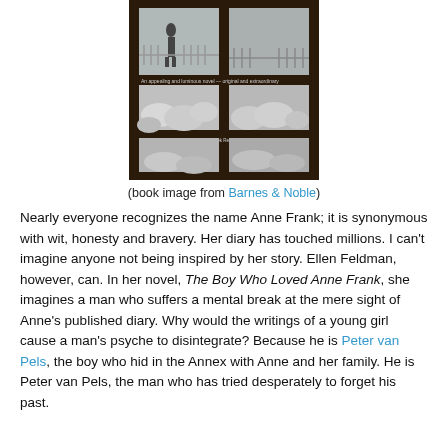[Figure (photo): Black and white photograph of a book cover showing a view through a multi-paned window, with a figure standing in snow outside and snow-covered plants below.]
(book image from Barnes & Noble)
Nearly everyone recognizes the name Anne Frank; it is synonymous with wit, honesty and bravery. Her diary has touched millions. I can't imagine anyone not being inspired by her story. Ellen Feldman, however, can. In her novel, The Boy Who Loved Anne Frank, she imagines a man who suffers a mental break at the mere sight of Anne's published diary. Why would the writings of a young girl cause a man's psyche to disintegrate? Because he is Peter van Pels, the boy who hid in the Annex with Anne and her family. He is Peter van Pels, the man who has tried desperately to forget his past.